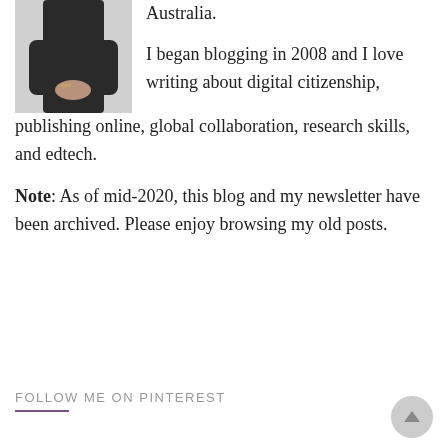[Figure (photo): Person wearing a dark dress, hands clasped in front, partial body shot against light background]
Australia.
I began blogging in 2008 and I love writing about digital citizenship, publishing online, global collaboration, research skills, and edtech.
Note: As of mid-2020, this blog and my newsletter have been archived. Please enjoy browsing my old posts.
FOLLOW ME ON PINTEREST